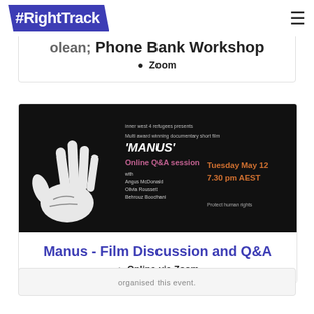#RightTrack
Phone Bank Workshop
Zoom
[Figure (photo): Event banner for 'MANUS' documentary film online Q&A session. Black background with a white hand print on the left. Text: 'inner west 4 refugees presents', 'Multi award winning documentary short film', ''MANUS'', 'Online Q&A session', 'with Angus McDonald, Olivia Rousset, Behrouz Boochani', 'Tuesday May 12', '7.30 pm AEST', 'Protect human rights'.]
Manus - Film Discussion and Q&A
Online via Zoom
organised this event.